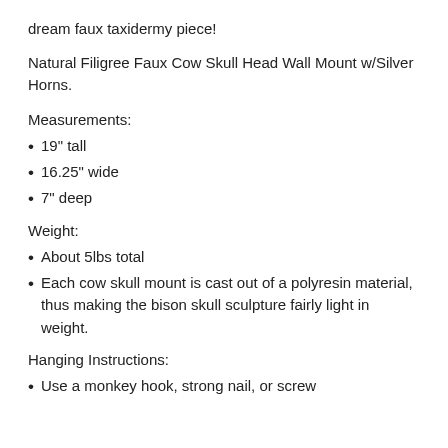dream faux taxidermy piece!
Natural Filigree Faux Cow Skull Head Wall Mount w/Silver Horns.
Measurements:
19" tall
16.25" wide
7" deep
Weight:
About 5lbs total
Each cow skull mount is cast out of a polyresin material, thus making the bison skull sculpture fairly light in weight.
Hanging Instructions:
Use a monkey hook, strong nail, or screw